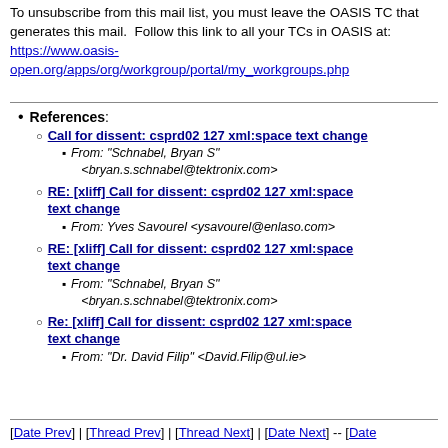To unsubscribe from this mail list, you must leave the OASIS TC that generates this mail.  Follow this link to all your TCs in OASIS at: https://www.oasis-open.org/apps/org/workgroup/portal/my_workgroups.php
References: Call for dissent: csprd02 127 xml:space text change — From: "Schnabel, Bryan S" <bryan.s.schnabel@tektronix.com>
RE: [xliff] Call for dissent: csprd02 127 xml:space text change — From: Yves Savourel <ysavourel@enlaso.com>
RE: [xliff] Call for dissent: csprd02 127 xml:space text change — From: "Schnabel, Bryan S" <bryan.s.schnabel@tektronix.com>
Re: [xliff] Call for dissent: csprd02 127 xml:space text change — From: "Dr. David Filip" <David.Filip@ul.ie>
[Date Prev] | [Thread Prev] | [Thread Next] | [Date Next] -- [Date